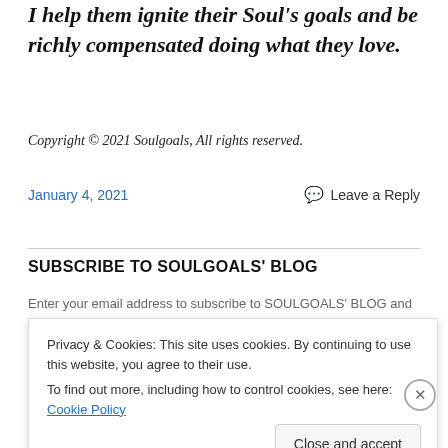I help them ignite their Soul's goals and be richly compensated doing what they love.
Copyright © 2021 Soulgoals, All rights reserved.
January 4, 2021
Leave a Reply
SUBSCRIBE TO SOULGOALS' BLOG
Enter your email address to subscribe to SOULGOALS' BLOG and
Privacy & Cookies: This site uses cookies. By continuing to use this website, you agree to their use.
To find out more, including how to control cookies, see here: Cookie Policy
Close and accept